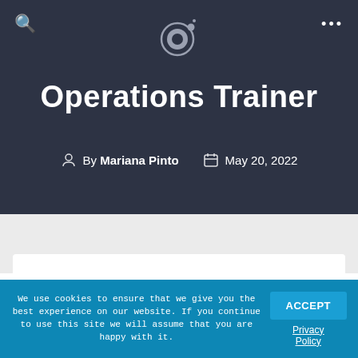[Figure (logo): Circular logo icon with orbit-style dots on dark navy background]
Operations Trainer
By Mariana Pinto   May 20, 2022
We use cookies to ensure that we give you the best experience on our website. If you continue to use this site we will assume that you are happy with it.